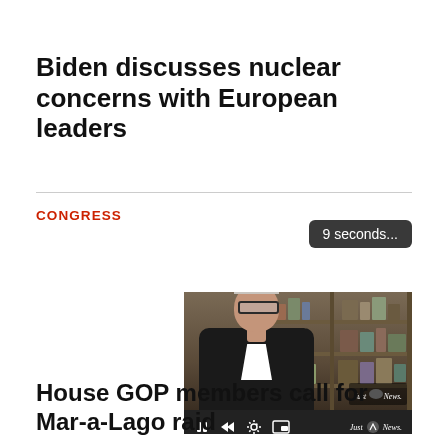Biden discusses nuclear concerns with European leaders
CONGRESS
[Figure (screenshot): Video player screenshot showing a man in a dark suit sitting in front of bookshelves, with a '9 seconds...' tooltip overlay and video controls including pause, rewind, settings, and picture-in-picture buttons. A 'Just the News' watermark is visible.]
House GOP members call for Mar-a-Lago raid